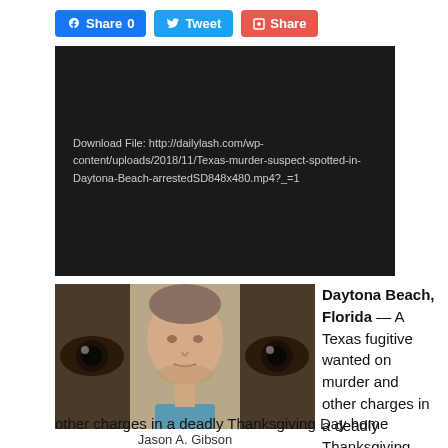[Figure (screenshot): Social media share buttons: Facebook Share 0, Tweet, and Share (red)]
[Figure (screenshot): Dark video embed block with download file URL: http://dailylash.com/wp-content/uploads/2018/11/Texas-murder-suspect-spotted-in-Daytona-Beach-arrestedSD848x480.mp4?_=1]
[Figure (photo): Mugshot of Jason A. Gibson flanked by close-up eye images on left and right]
Jason A. Gibson
Daytona Beach, Florida — A Texas fugitive wanted on murder and other charges in a deadly Thanksgiving Day home